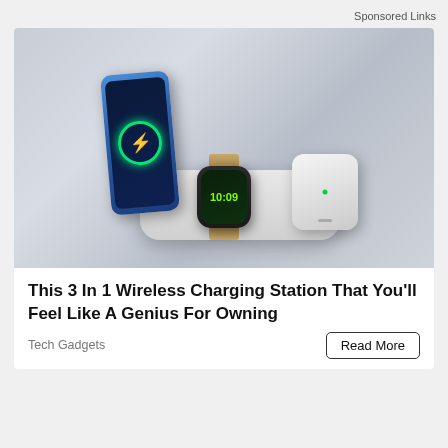Sponsored Links
[Figure (photo): Product photo of a 3-in-1 wireless charging station on a grey background, showing an iPhone charging wirelessly with a green circular indicator, an Apple Watch, and AirPods case on a white charging pad]
This 3 In 1 Wireless Charging Station That You'll Feel Like A Genius For Owning
Tech Gadgets
Read More